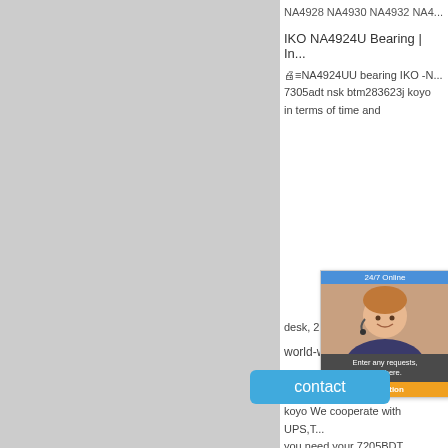NA4928 NA4930 NA4932 NA4...
IKO NA4924U Bearing | In...
≡NA4924UU bearing IKO -N... 7305adt nsk btm283623j koyo ... in terms of time and... desk, 2, 3 days or m...
[Figure (other): 24/7 Online chat widget with customer service agent photo, message bubble and Quotation button]
world-wide renow...
7205BDT bearing Japan ntn-72... koyo We cooperate with UPS,T... you need your 7205BDT bearin... international customers, YES, w...
NA4924U IKO Bearing | N...
[Figure (other): Blue contact button overlay]
IKO NA4924U bearing is one o...